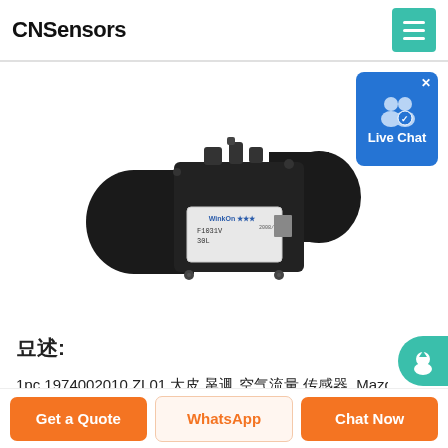CNSensors
[Figure (photo): A mass air flow sensor (MAF) - black cylindrical sensor with rectangular body, WinkOn brand label showing F1031V, 30L, product code]
[Figure (infographic): Live Chat button widget - blue rounded rectangle with two person icons and 'Live Chat' text]
描述:
1pc 1974002010 ZL01 大众 朗逸 空气流量 传感器, Mazda 3 BK 5 ...
Get a Quote
WhatsApp
Chat Now